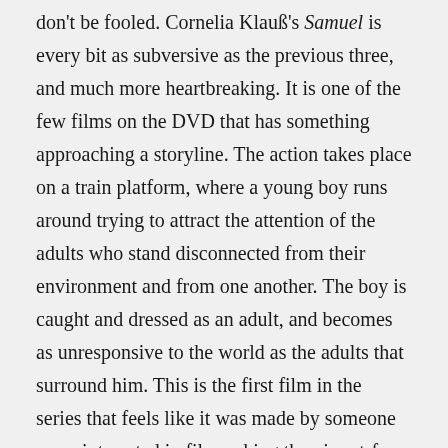don't be fooled. Cornelia Klauß's Samuel is every bit as subversive as the previous three, and much more heartbreaking. It is one of the few films on the DVD that has something approaching a storyline. The action takes place on a train platform, where a young boy runs around trying to attract the attention of the adults who stand disconnected from their environment and from one another. The boy is caught and dressed as an adult, and becomes as unresponsive to the world as the adults that surround him. This is the first film in the series that feels like it was made by someone more interested in filmmaking than in art-for-art's-sake. It's no surprise, then, that Cornelia Klauß has continued to work in film, primarily documentaries, including a short film about the Super-8 scene in East Germany that is included on this DVD.